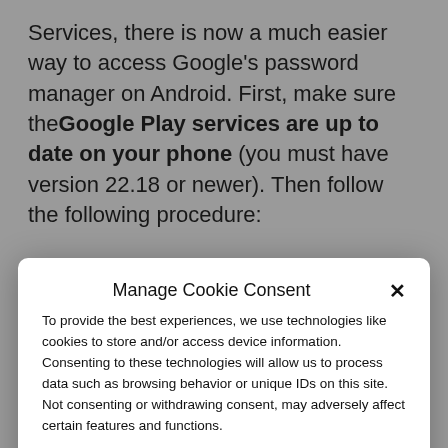Services, there is now a much easier way to access Google's password manager on Android. First, make sure the Google Play services are up to date on your phone (you must have version 22.18 or newer). Then follow the following procedure:
1. Go to Settings on your Android
Manage Cookie Consent
To provide the best experiences, we use technologies like cookies to store and/or access device information. Consenting to these technologies will allow us to process data such as browsing behavior or unique IDs on this site. Not consenting or withdrawing consent, may adversely affect certain features and functions.
Accept
Cookie Policy